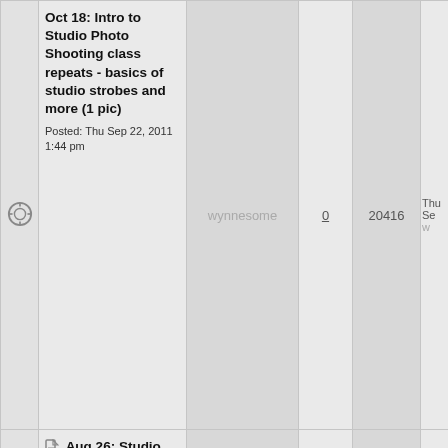|  | Topic | Author | Replies | Views | Last Post |
| --- | --- | --- | --- | --- | --- |
| [icon] | Oct 18: Intro to Studio Photo Shooting class repeats - basics of studio strobes and more (1 pic)
Posted: Thu Sep 22, 2011 1:44 pm | wynnesome | 0 | 20416 | Thu Se
w |
| [icon] | Aug 26: Studio Open House Night - HAT NIGHT - w/ EVENT PHOTOS!
Posted: Sat Jul 30, 2011 4:37 pm | wynnesome | 7 | 39380 | Thu Se
w |
| [icon] | Sept 19: Intro to Studio Photo Shooting repeats: basics of studio strobes & more
 | wynnesome | 1 | 19626 | Sat Se
w |